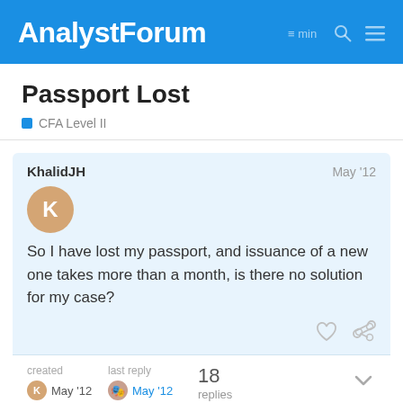AnalystForum
Passport Lost
CFA Level II
KhalidJH
May '12
So I have lost my passport, and issuance of a new one takes more than a month, is there no solution for my case?
created May '12   last reply May '12   18 replies
lemiman
Level III CFA Candidate
1 / 19